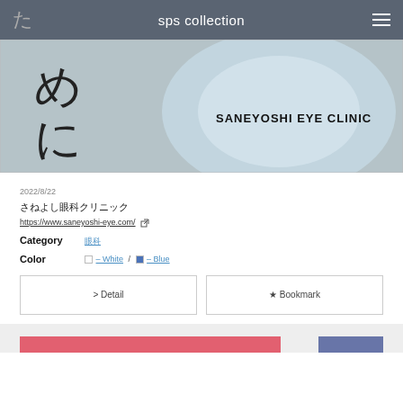sps collection
[Figure (illustration): Eye clinic website screenshot showing Japanese characters (た, め, に) and text SANEYOSHI EYE CLINIC on a light blue background with a stylized eye logo.]
2022/8/22
さねよし眼科クリニック
https://www.saneyoshi-eye.com/
Category  眼科
Color  □ – White / □ – Blue
> Detail
★ Bookmark